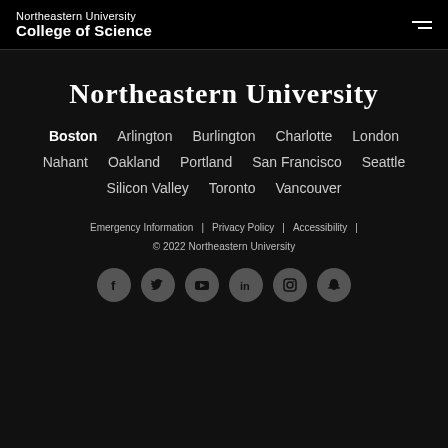Northeastern University College of Science
Northeastern University
Boston  Arlington  Burlington  Charlotte  London
Nahant  Oakland  Portland  San Francisco  Seattle
Silicon Valley  Toronto  Vancouver
Emergency Information | Privacy Policy | Accessibility |
© 2022 Northeastern University
[Figure (infographic): Social media icons: Facebook, Twitter, YouTube, LinkedIn, Instagram, Snapchat]